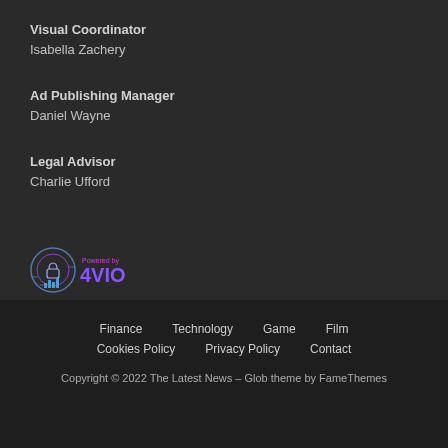Visual Coordinator
Isabella Zachery
Ad Publishing Manager
Daniel Wayne
Legal Advisor
Charlie Ufford
[Figure (logo): Powered by 4VIO logo with circular emblem]
Finance  Technology  Game  Film
Cookies Policy  Privacy Policy  Contact
Copyright © 2022 The Latest News – Glob theme by FameThemes